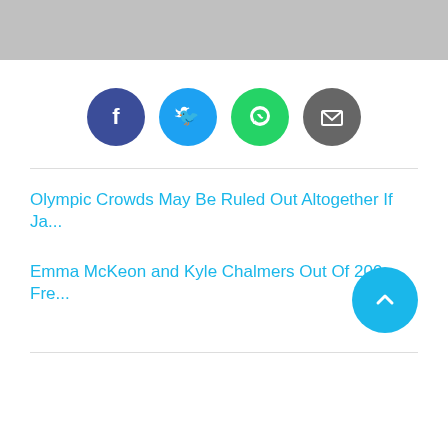[Figure (illustration): Top banner image with red panels on left and right and a gray center box with red border]
[Figure (infographic): Four social media sharing icons in a row: Facebook (dark blue circle), Twitter (light blue circle), WhatsApp (green circle), Email (gray circle)]
Olympic Crowds May Be Ruled Out Altogether If Ja...
Emma McKeon and Kyle Chalmers Out Of 200 Fre...